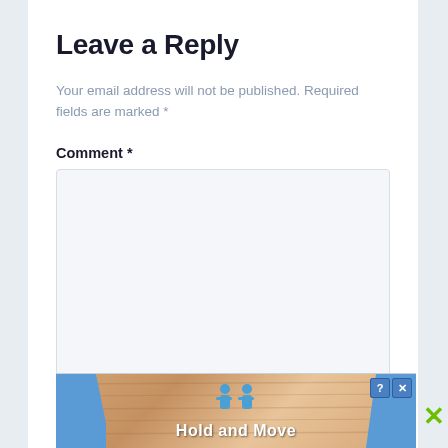Leave a Reply
Your email address will not be published. Required fields are marked *
Comment *
Name *
[Figure (screenshot): Advertisement banner showing 'Hold and Move' with blue striped borders and wooden texture background, with close (X) and help (?) buttons]